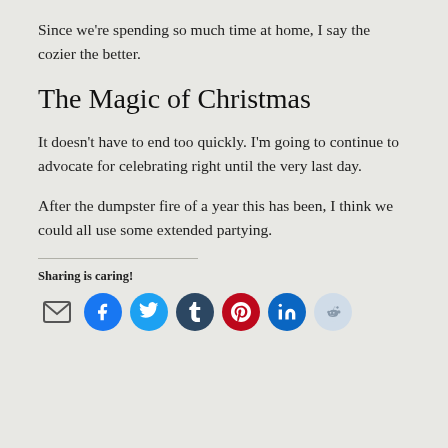Since we're spending so much time at home, I say the cozier the better.
The Magic of Christmas
It doesn't have to end too quickly. I'm going to continue to advocate for celebrating right until the very last day.
After the dumpster fire of a year this has been, I think we could all use some extended partying.
Sharing is caring!
[Figure (infographic): Social sharing icons: email, Facebook, Twitter, Tumblr, Pinterest, LinkedIn, Reddit]